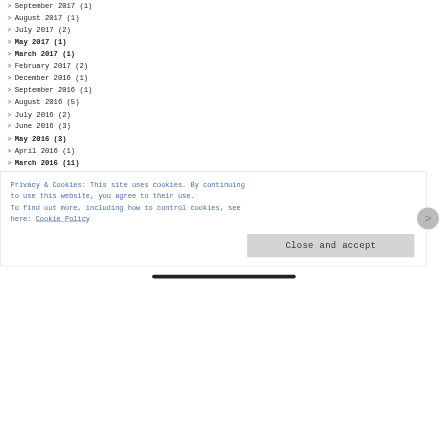> September 2017 (1)
> August 2017 (1)
> July 2017 (2)
> May 2017 (1)
> March 2017 (1)
> February 2017 (2)
> December 2016 (1)
> September 2016 (1)
> August 2016 (5)
> July 2016 (2)
> June 2016 (3)
> May 2016 (3)
> April 2016 (1)
> March 2016 (11)
Privacy & Cookies: This site uses cookies. By continuing to use this website, you agree to their use. To find out more, including how to control cookies, see here: Cookie Policy
Close and accept